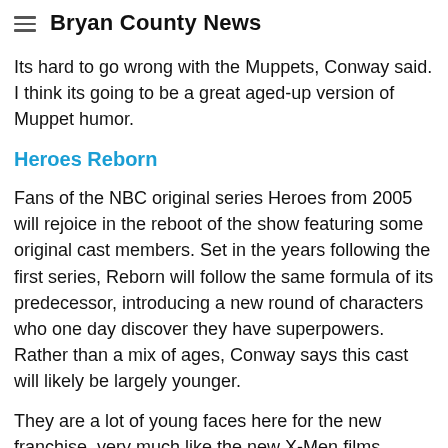Bryan County News
Its hard to go wrong with the Muppets, Conway said. I think its going to be a great aged-up version of Muppet humor.
Heroes Reborn
Fans of the NBC original series Heroes from 2005 will rejoice in the reboot of the show featuring some original cast members. Set in the years following the first series, Reborn will follow the same formula of its predecessor, introducing a new round of characters who one day discover they have superpowers. Rather than a mix of ages, Conway says this cast will likely be largely younger.
They are a lot of young faces here for the new franchise, very much like the new X-Men films, Conway said.
DCs Legends of Tomorrow